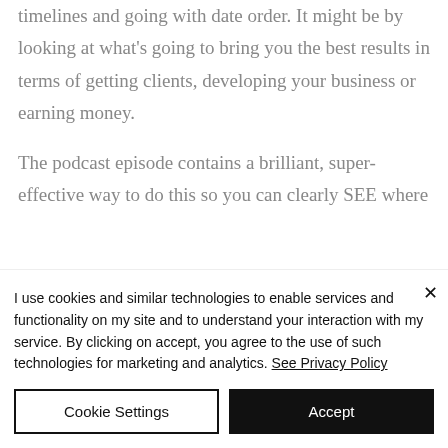timelines and going with date order. It might be by looking at what's going to bring you the best results in terms of getting clients, developing your business or earning money.
The podcast episode contains a brilliant, super-effective way to do this so you can clearly SEE where
I use cookies and similar technologies to enable services and functionality on my site and to understand your interaction with my service. By clicking on accept, you agree to the use of such technologies for marketing and analytics. See Privacy Policy